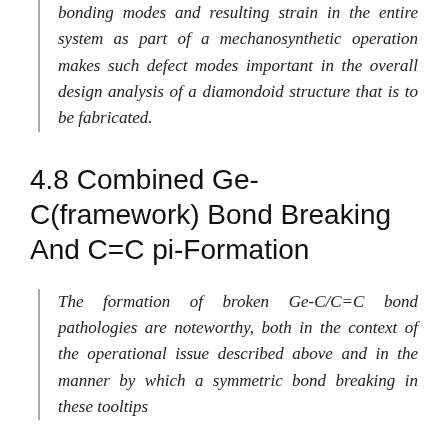accessible in isolation, but the additional bonding modes and resulting strain in the entire system as part of a mechanosynthetic operation makes such defect modes important in the overall design analysis of a diamondoid structure that is to be fabricated.
4.8 Combined Ge-C(framework) Bond Breaking And C=C pi-Formation
The formation of broken Ge-C/C=C bond pathologies are noteworthy, both in the context of the operational issue described above and in the manner by which a symmetric bond breaking in these tooltips